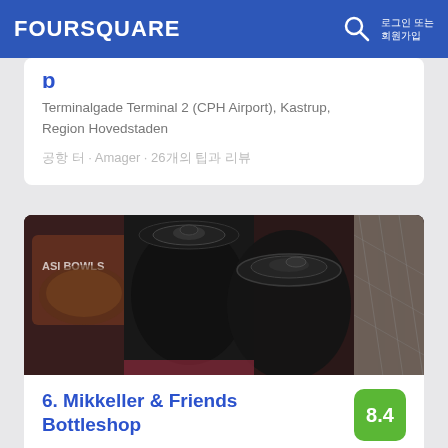FOURSQUARE
Terminalgade Terminal 2 (CPH Airport), Kastrup, Region Hovedstaden
공항 터 · Amager · 26개의 팁과 리뷰
[Figure (photo): Close-up photo of dark beer cans tops, with Acai Bowls product visible in background]
6. Mikkeller & Friends Bottleshop
Torvehallerne 21, Hal 1, E4, 코펜하겐, Region Hovedstaden